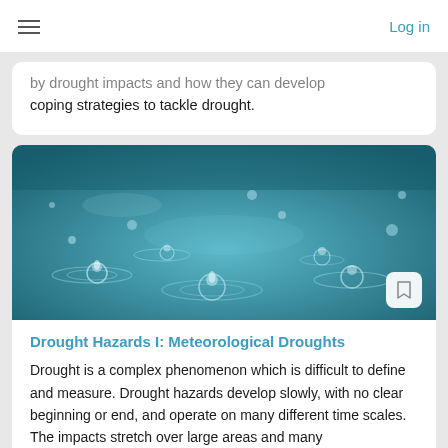Log in
by drought impacts and how they can develop coping strategies to tackle drought.
[Figure (photo): Close-up photo of rain drops falling on water surface creating ripples and splashes, teal/blue tones]
Drought Hazards I: Meteorological Droughts
Drought is a complex phenomenon which is difficult to define and measure. Drought hazards develop slowly, with no clear beginning or end, and operate on many different time scales. The impacts stretch over large areas and many